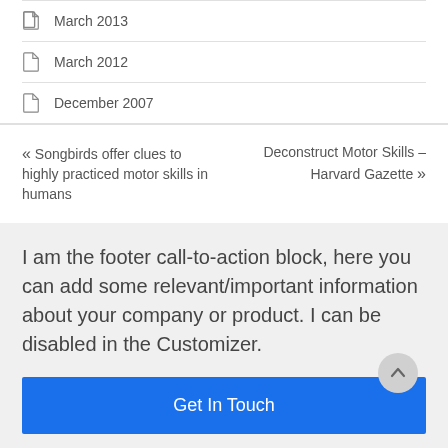March 2013
March 2012
December 2007
« Songbirds offer clues to highly practiced motor skills in humans
Deconstruct Motor Skills – Harvard Gazette »
I am the footer call-to-action block, here you can add some relevant/important information about your company or product. I can be disabled in the Customizer.
Get In Touch